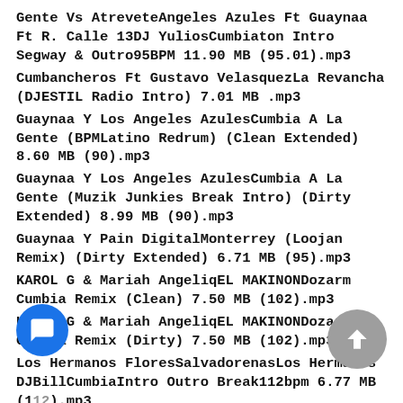Gente Vs AtreveteAngeles Azules Ft Guaynaa Ft R. Calle 13DJ YuliosCumbiaton Intro Segway & Outro95BPM 11.90 MB (95.01).mp3
Cumbancheros Ft Gustavo VelasquezLa Revancha (DJESTIL Radio Intro) 7.01 MB .mp3
Guaynaa Y Los Angeles AzulesCumbia A La Gente (BPMLatino Redrum) (Clean Extended) 8.60 MB (90).mp3
Guaynaa Y Los Angeles AzulesCumbia A La Gente (Muzik Junkies Break Intro) (Dirty Extended) 8.99 MB (90).mp3
Guaynaa Y Pain DigitalMonterrey (Loojan Remix) (Dirty Extended) 6.71 MB (95).mp3
KAROL G & Mariah AngeliqEL MAKINONDozarm Cumbia Remix (Clean) 7.50 MB (102).mp3
KAROL G & Mariah AngeliqEL MAKINONDozarm Cumbia Remix (Dirty) 7.50 MB (102).mp3
Los Hermanos FloresSalvadorenasLos Hermanos DJBillCumbiaIntro Outro Break112bpm 6.77 MB (112).mp3